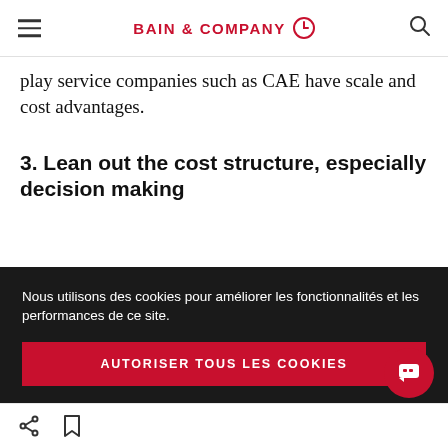BAIN & COMPANY
play service companies such as CAE have scale and cost advantages.
3. Lean out the cost structure, especially decision making
Services typically need an overhead cost structure 10% to 20% lower than a product
Nous utilisons des cookies pour améliorer les fonctionnalités et les performances de ce site. AUTORISER TOUS LES COOKIES